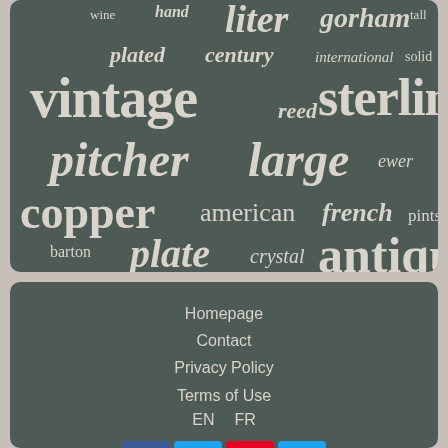[Figure (infographic): Word cloud / tag cloud on dark green-grey background showing antique pitcher and silverware related keywords in varying sizes: wine, hand, liter, gorham, tall, plated, century, international, solid, vintage, reed, sterling, pitcher, large, ewer, copper, american, french, pints, barton, plate, crystal, antique]
Homepage
Contact
Privacy Policy
Terms of Use
EN  FR
[Figure (infographic): Social media icon buttons: Facebook (blue), Twitter (blue), Pinterest (red), Email (blue)]